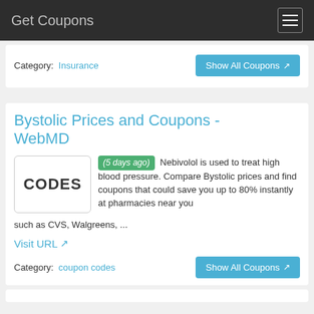Get Coupons
Category: Insurance
Show All Coupons
Bystolic Prices and Coupons - WebMD
(5 days ago) Nebivolol is used to treat high blood pressure. Compare Bystolic prices and find coupons that could save you up to 80% instantly at pharmacies near you such as CVS, Walgreens, ...
Visit URL
Category: coupon codes
Show All Coupons